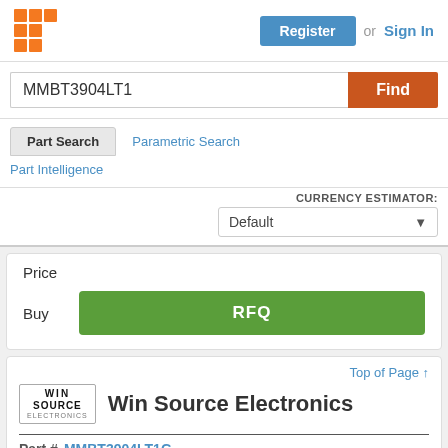[Figure (logo): Orange grid logo (3x3 squares)]
Register or Sign In
MMBT3904LT1
Find
Part Search
Parametric Search
Part Intelligence
CURRENCY ESTIMATOR: Default
Price
Buy
RFQ
Top of Page ↑
[Figure (logo): Win Source Electronics logo]
Win Source Electronics
Part #
MMBT3904LT1G